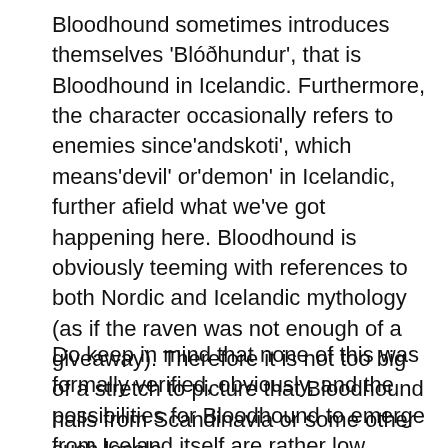Bloodhound sometimes introduces themselves 'Blóðhundur', that is Bloodhound in Icelandic. Furthermore, the character occasionally refers to enemies since'andskoti', which means'devil' or'demon' in Icelandic, further afield what we've got happening here. Bloodhound is obviously teeming with references to both Nordic and Icelandic mythology (as if the raven was not enough of a giveaway). Therefore it is not too big of a stretch to picture that Bloodhound hails from Scandinavia or some other such locale.
Do keep in mind that none of this was formally verified, obviously, and the possibilities for Bloodhound to emerge from Iceland itself are rather low. Given the fact